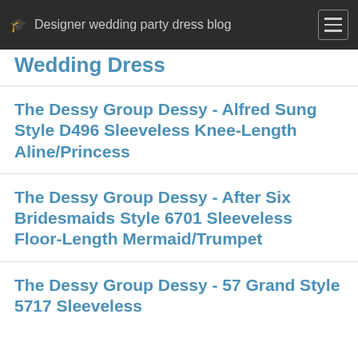Designer wedding party dress blog
Wedding Dress
The Dessy Group Dessy - Alfred Sung Style D496 Sleeveless Knee-Length Aline/Princess
The Dessy Group Dessy - After Six Bridesmaids Style 6701 Sleeveless Floor-Length Mermaid/Trumpet
The Dessy Group Dessy - 57 Grand Style 5717 Sleeveless